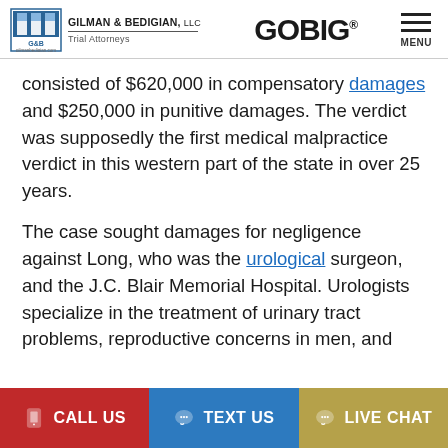GILMAN & BEDIGIAN, LLC Trial Attorneys | GOBIG | MENU
consisted of $620,000 in compensatory damages and $250,000 in punitive damages. The verdict was supposedly the first medical malpractice verdict in this western part of the state in over 25 years.
The case sought damages for negligence against Long, who was the urological surgeon, and the J.C. Blair Memorial Hospital. Urologists specialize in the treatment of urinary tract problems, reproductive concerns in men, and
CALL US | TEXT US | LIVE CHAT